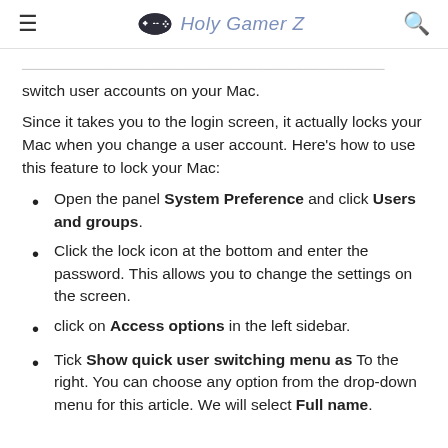Holy Gamer Z
switch user accounts on your Mac.
Since it takes you to the login screen, it actually locks your Mac when you change a user account. Here's how to use this feature to lock your Mac:
Open the panel System Preference and click Users and groups.
Click the lock icon at the bottom and enter the password. This allows you to change the settings on the screen.
click on Access options in the left sidebar.
Tick Show quick user switching menu as To the right. You can choose any option from the drop-down menu for this article. We will select Full name.